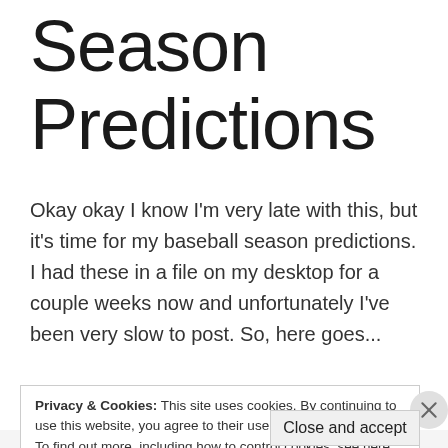Season Predictions
Okay okay I know I'm very late with this, but it's time for my baseball season predictions. I had these in a file on my desktop for a couple weeks now and unfortunately I've been very slow to post. So, here goes...
Privacy & Cookies: This site uses cookies. By continuing to use this website, you agree to their use.
To find out more, including how to control cookies, see here: Cookie Policy
Close and accept